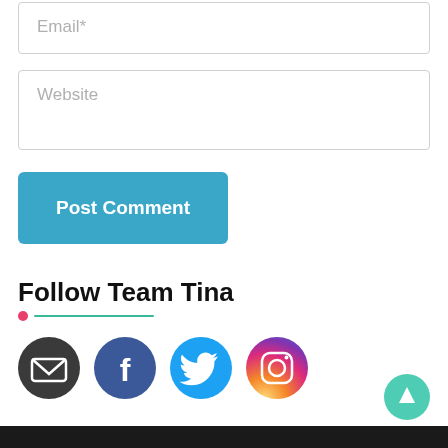Email*
Website
Post Comment
Follow Team Tina
[Figure (infographic): Four social media icon circles: email (dark gray), Facebook (dark blue), Twitter (light blue), Instagram (gradient purple-orange)]
[Figure (other): Scroll-to-top button: teal/green circle with white upward arrow]